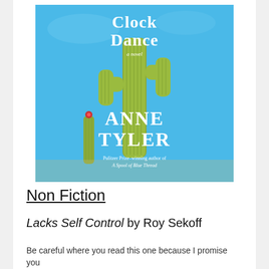[Figure (illustration): Book cover of 'Clock Dance' by Anne Tyler. Sky blue background with large green saguaro cacti. Title 'Clock Dance' in white serif font at top, 'a novel' in small text below, then 'ANNE TYLER' in large white capital letters. Subtitle reads 'Pulitzer Prize-winning author of A Spool of Blue Thread' at bottom.]
Non Fiction
Lacks Self Control by Roy Sekoff
Be careful where you read this one because I promise you